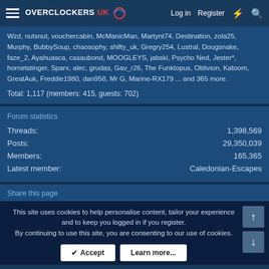Overclockers UK — Log in | Register
Wzd, nutsnut, vouchercabin, McManicMan, Martynt74, Destination, zola25, Murphy, BubbySoup, chaosophy, shifty_uk, Gregry254, Lustral, Dougsnake, faze_2, Ayahuasca, casaubond, MOOGLEYS, jabski, Psycho Ned, Jester*, hornetstinger, Sparx, alec, grudas, Gav_r26, The Funktopus, Oblivion, Katoom, GreatAuk, Freddie1980, dan958, Mr G, Marine-RX179 ... and 365 more.
Total: 1,117 (members: 415, guests: 702)
Forum statistics
| Stat | Value |
| --- | --- |
| Threads: | 1,398,569 |
| Posts: | 29,350,039 |
| Members: | 165,365 |
| Latest member: | Caledonian-Escapes |
Share this page
This site uses cookies to help personalise content, tailor your experience and to keep you logged in if you register. By continuing to use this site, you are consenting to our use of cookies.